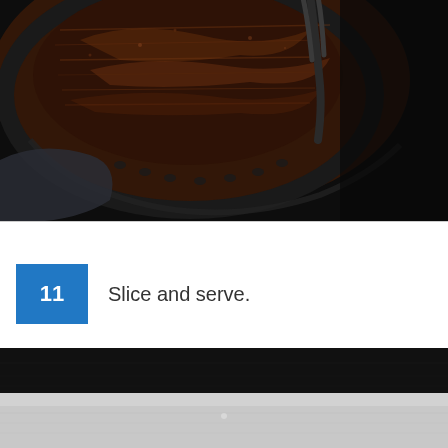[Figure (photo): Overhead dark moody photo of a chocolate cake on a decorative black plate with a fork or serving utensil resting on it, dusted with cocoa powder, with a dark cloth napkin visible]
11  Slice and serve.
[Figure (photo): Bottom portion of a dark background photo showing a reflective surface, likely part of the same cake or preparation scene]